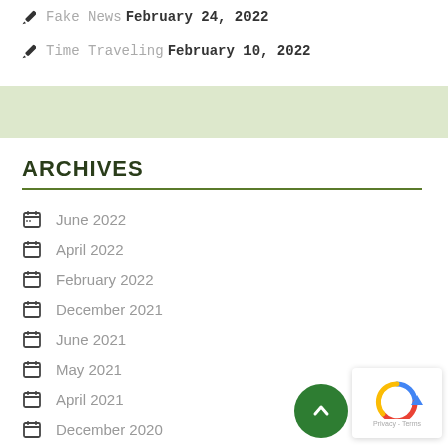Fake News February 24, 2022
Time Traveling February 10, 2022
ARCHIVES
June 2022
April 2022
February 2022
December 2021
June 2021
May 2021
April 2021
December 2020
October 2020
September 2020